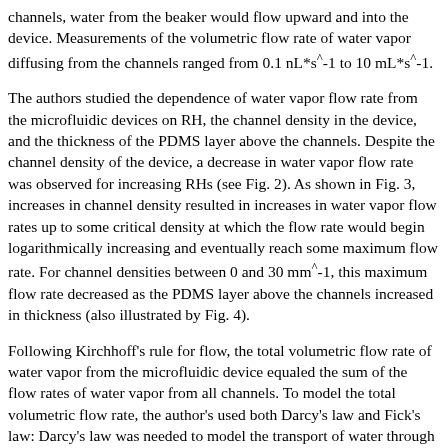channels, water from the beaker would flow upward and into the device. Measurements of the volumetric flow rate of water vapor diffusing from the channels ranged from 0.1 nL*s^-1 to 10 mL*s^-1.
The authors studied the dependence of water vapor flow rate from the microfluidic devices on RH, the channel density in the device, and the thickness of the PDMS layer above the channels. Despite the channel density of the device, a decrease in water vapor flow rate was observed for increasing RHs (see Fig. 2). As shown in Fig. 3, increases in channel density resulted in increases in water vapor flow rates up to some critical density at which the flow rate would begin logarithmically increasing and eventually reach some maximum flow rate. For channel densities between 0 and 30 mm^-1, this maximum flow rate decreased as the PDMS layer above the channels increased in thickness (also illustrated by Fig. 4).
Following Kirchhoff's rule for flow, the total volumetric flow rate of water vapor from the microfluidic device equaled the sum of the flow rates of water vapor from all channels. To model the total volumetric flow rate, the author's used both Darcy's law and Fick's law: Darcy's law was needed to model the transport of water through the PDMS layer, and Fick's law described the diffusion of water vapor from the PDMS to the surrounding atmosphere. Darcy's law is given by